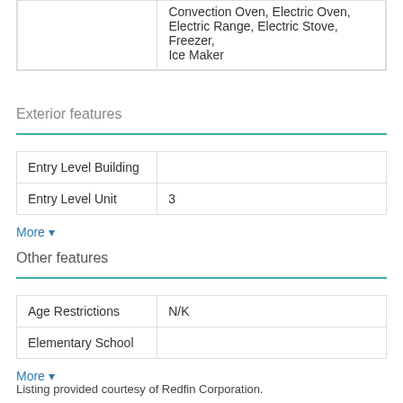|  | Convection Oven, Electric Oven, Electric Range, Electric Stove, Freezer, Ice Maker |
Exterior features
| Entry Level Building |  |
| Entry Level Unit | 3 |
More
Other features
| Age Restrictions | N/K |
| Elementary School |  |
More
Listing provided courtesy of Redfin Corporation.